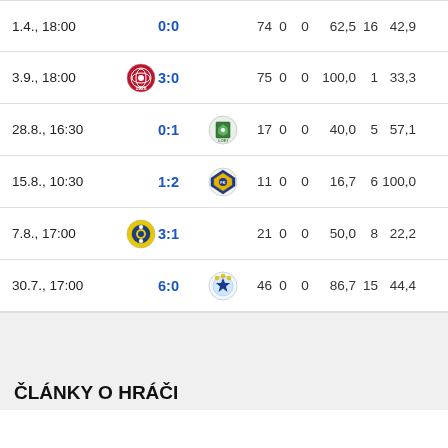| Date | Logo | Score | Logo2 | N1 | N2 | N3 | N4 | N5 | N6 |
| --- | --- | --- | --- | --- | --- | --- | --- | --- | --- |
| 1.4., 18:00 |  | 0:0 |  | 74 | 0 | 0 | 62,5 | 16 | 42,9 |
| 3.9., 18:00 | logo | 3:0 |  | 75 | 0 | 0 | 100,0 | 1 | 33,3 |
| 28.8., 16:30 |  | 0:1 | logo | 17 | 0 | 0 | 40,0 | 5 | 57,1 |
| 15.8., 10:30 |  | 1:2 | logo | 11 | 0 | 0 | 16,7 | 6 | 100,0 |
| 7.8., 17:00 | logo | 3:1 |  | 21 | 0 | 0 | 50,0 | 8 | 22,2 |
| 30.7., 17:00 |  | 6:0 | logo | 46 | 0 | 0 | 86,7 | 15 | 44,4 |
ČLÁNKY O HRÁČI